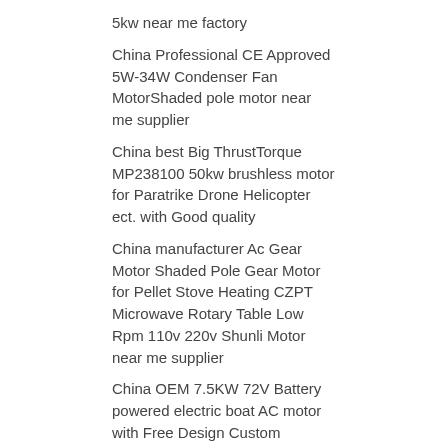5kw near me factory
China Professional CE Approved 5W-34W Condenser Fan MotorShaded pole motor near me supplier
China best Big ThrustTorque MP238100 50kw brushless motor for Paratrike Drone Helicopter ect. with Good quality
China manufacturer Ac Gear Motor Shaded Pole Gear Motor for Pellet Stove Heating CZPT Microwave Rotary Table Low Rpm 110v 220v Shunli Motor near me supplier
China OEM 7.5KW 72V Battery powered electric boat AC motor with Free Design Custom
China Professional 500W 36V DC brushless motor electric tricycle rear axle motor 350W 650W 750W 48V 60V 72V with Best Sales
China best 3V coin type vibrating dc motor near me shop